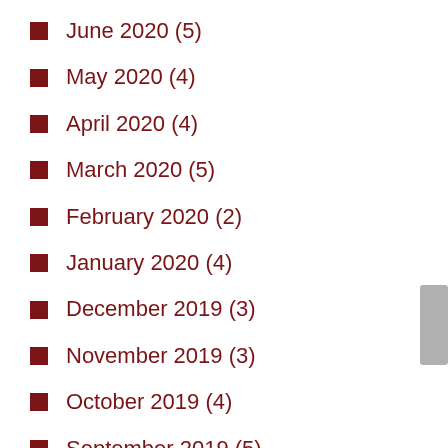June 2020 (5)
May 2020 (4)
April 2020 (4)
March 2020 (5)
February 2020 (2)
January 2020 (4)
December 2019 (3)
November 2019 (3)
October 2019 (4)
September 2019 (5)
August 2019 (3)